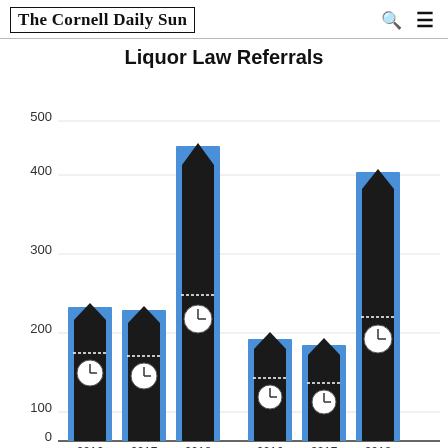The Cornell Daily Sun
Liquor Law Referrals
[Figure (grouped-bar-chart): Liquor Law Referrals]